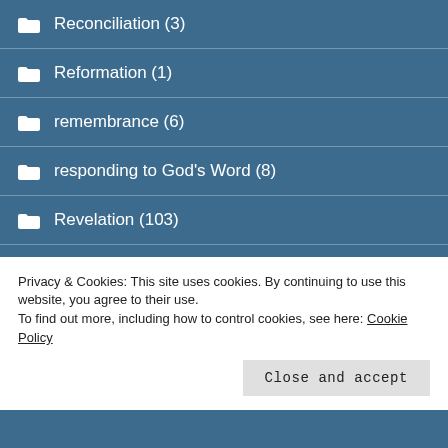Reconciliation (3)
Reformation (1)
remembrance (6)
responding to God's Word (8)
Revelation (103)
Revised Common Lectionary – Year A (13)
Revised Common Lectionary – Year B (12)
Privacy & Cookies: This site uses cookies. By continuing to use this website, you agree to their use.
To find out more, including how to control cookies, see here: Cookie Policy
Close and accept